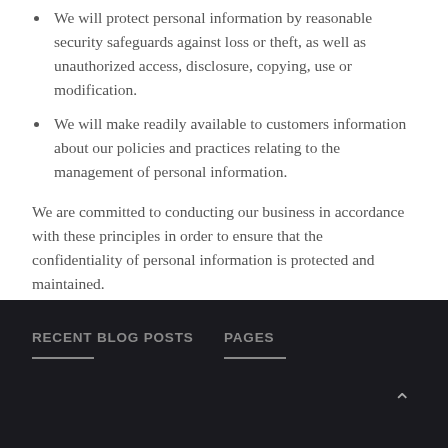We will protect personal information by reasonable security safeguards against loss or theft, as well as unauthorized access, disclosure, copying, use or modification.
We will make readily available to customers information about our policies and practices relating to the management of personal information.
We are committed to conducting our business in accordance with these principles in order to ensure that the confidentiality of personal information is protected and maintained.
RECENT BLOG POSTS | PAGES